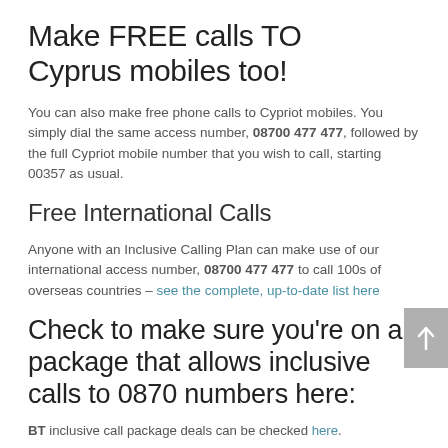Make FREE calls TO Cyprus mobiles too!
You can also make free phone calls to Cypriot mobiles. You simply dial the same access number, 08700 477 477, followed by the full Cypriot mobile number that you wish to call, starting 00357 as usual.
Free International Calls
Anyone with an Inclusive Calling Plan can make use of our international access number, 08700 477 477 to call 100s of overseas countries – see the complete, up-to-date list here
Check to make sure you're on a package that allows inclusive calls to 0870 numbers here:
BT inclusive call package deals can be checked here.